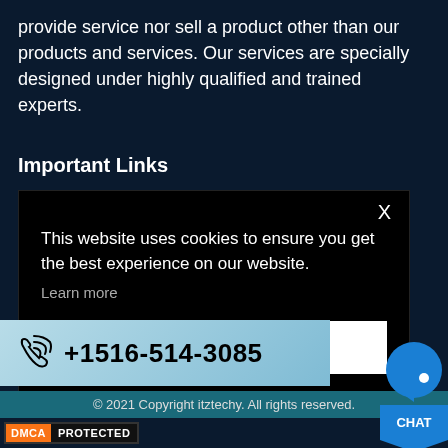provide service nor sell a product other than our products and services. Our services are specially designed under highly qualified and trained experts.
Important Links
[Figure (screenshot): Cookie consent modal overlay with black background, close X button, message 'This website uses cookies to ensure you get the best experience on our website.', 'Learn more' link, and 'Got it' button]
[Figure (illustration): Blue live chat button/badge with speech bubble icon and 'CHAT' text]
[Figure (infographic): Light blue phone bar with phone icon and number +1516-514-3085]
© 2021 Copyright itztechy. All rights reserved.
[Figure (logo): DMCA PROTECTED badge with orange DMCA label and dark PROTECTED label]